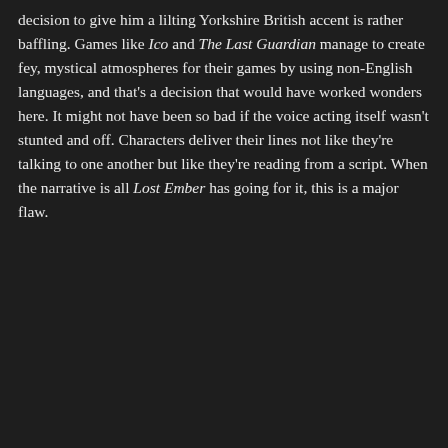decision to give him a lilting Yorkshire British accent is rather baffling. Games like Ico and The Last Guardian manage to create fey, mystical atmospheres for their games by using non-English languages, and that's a decision that would have worked wonders here. It might not have been so bad if the voice acting itself wasn't stunted and off. Characters deliver their lines not like they're talking to one another but like they're reading from a script. When the narrative is all Lost Ember has going for it, this is a major flaw.